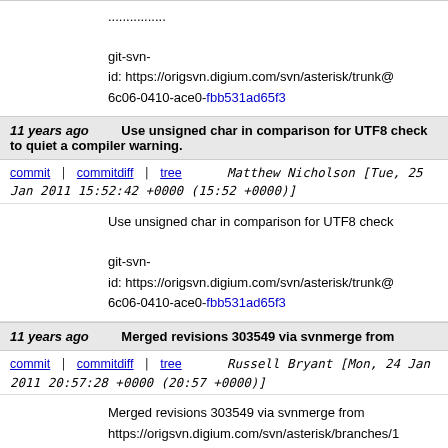.............. git-svn-id: https://origsvn.digium.com/svn/asterisk/trunk@ 6c06-0410-ace0-fbb531ad65f3
11 years ago  Use unsigned char in comparison for UTF8 check to quiet a compiler warning.
commit | commitdiff | tree  Matthew Nicholson [Tue, 25 Jan 2011 15:52:42 +0000 (15:52 +0000)]
Use unsigned char in comparison for UTF8 check git-svn-id: https://origsvn.digium.com/svn/asterisk/trunk@ 6c06-0410-ace0-fbb531ad65f3
11 years ago  Merged revisions 303549 via svnmerge from
commit | commitdiff | tree  Russell Bryant [Mon, 24 Jan 2011 20:57:28 +0000 (20:57 +0000)]
Merged revisions 303549 via svnmerge from https://origsvn.digium.com/svn/asterisk/branches/1 .............. r303549 | russell | 2011-01